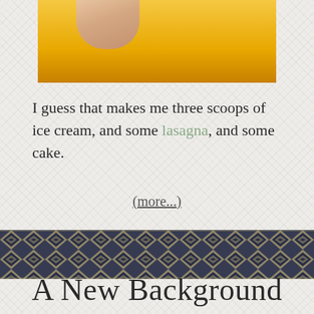[Figure (photo): Close-up photo of a finger touching or holding something against a yellow/orange background, cropped at top of page]
I guess that makes me three scoops of ice cream, and some lasagna, and some cake.
(more...)
[Figure (photo): Decorative horizontal band with a dark geometric/chevron pattern in navy and cream/gold colors]
A New Background